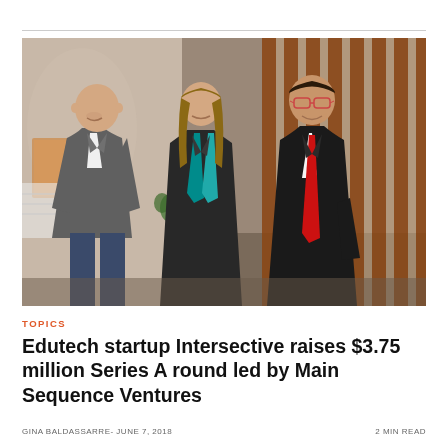[Figure (photo): Three people standing together in a modern office interior with wooden slat wall dividers. Left: a bald man in a grey suit and white shirt. Center: a woman with long brown hair wearing a black blazer and teal scarf. Right: a man with glasses in a black suit and red tie, smiling.]
TOPICS
Edutech startup Intersective raises $3.75 million Series A round led by Main Sequence Ventures
GINA BALDASSARRE- JUNE 7, 2018
2 MIN READ